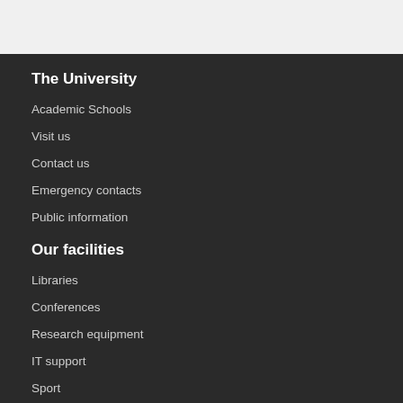The University
Academic Schools
Visit us
Contact us
Emergency contacts
Public information
Our facilities
Libraries
Conferences
Research equipment
IT support
Sport